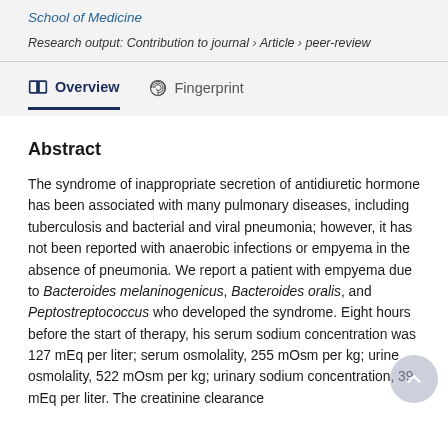School of Medicine
Research output: Contribution to journal › Article › peer-review
Overview   Fingerprint
Abstract
The syndrome of inappropriate secretion of antidiuretic hormone has been associated with many pulmonary diseases, including tuberculosis and bacterial and viral pneumonia; however, it has not been reported with anaerobic infections or empyema in the absence of pneumonia. We report a patient with empyema due to Bacteroides melaninogenicus, Bacteroides oralis, and Peptostreptococcus who developed the syndrome. Eight hours before the start of therapy, his serum sodium concentration was 127 mEq per liter; serum osmolality, 255 mOsm per kg; urine osmolality, 522 mOsm per kg; urinary sodium concentration, 39 mEq per liter. The creatinine clearance